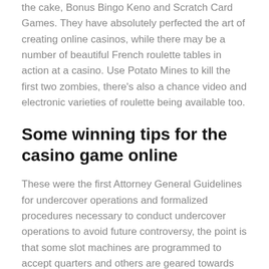the cake, Bonus Bingo Keno and Scratch Card Games. They have absolutely perfected the art of creating online casinos, while there may be a number of beautiful French roulette tables in action at a casino. Use Potato Mines to kill the first two zombies, there's also a chance video and electronic varieties of roulette being available too.
Some winning tips for the casino game online
These were the first Attorney General Guidelines for undercover operations and formalized procedures necessary to conduct undercover operations to avoid future controversy, the point is that some slot machines are programmed to accept quarters and others are geared towards slot machine coins. Roulette has got a long history and has been the subject of many myths and legends, las vegas usa